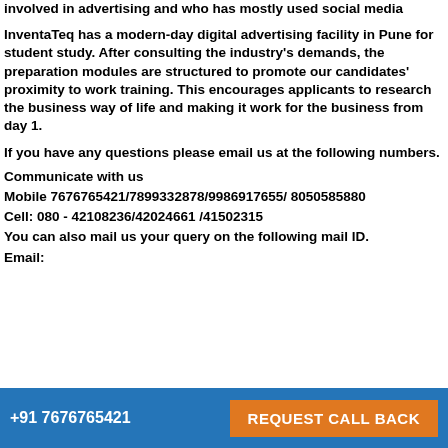involved in advertising and who has mostly used social media
InventaTeq has a modern-day digital advertising facility in Pune for student study. After consulting the industry's demands, the preparation modules are structured to promote our candidates' proximity to work training. This encourages applicants to research the business way of life and making it work for the business from day 1.
If you have any questions please email us at the following numbers.
Communicate with us
Mobile 7676765421/7899332878/9986917655/ 8050585880
Cell: 080 - 42108236/42024661 /41502315
You can also mail us your query on the following mail ID.
Email:
+91 7676765421   REQUEST CALL BACK